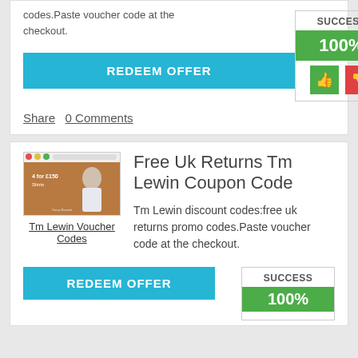codes.Paste voucher code at the checkout.
REDEEM OFFER
SUCCESS
100%
Share   0 Comments
[Figure (screenshot): Tm Lewin online store screenshot showing men's shirts with text '4 for £150 Shirts']
Tm Lewin Voucher Codes
Free Uk Returns Tm Lewin Coupon Code
Tm Lewin discount codes:free uk returns promo codes.Paste voucher code at the checkout.
REDEEM OFFER
SUCCESS
100%